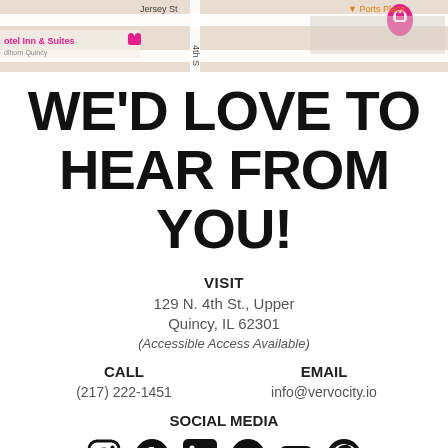[Figure (map): Google Maps screenshot showing Jersey St area with hotel markers, pink location pin, and Ports Place label]
WE'D LOVE TO HEAR FROM YOU!
VISIT
129 N. 4th St., Upper
Quincy, IL 62301
(Accessible Access Available)
CALL
(217) 222-1451
EMAIL
info@vervocity.io
SOCIAL MEDIA
[Figure (illustration): Social media icons: Instagram, Facebook, LinkedIn, Twitter, YouTube, Pinterest]